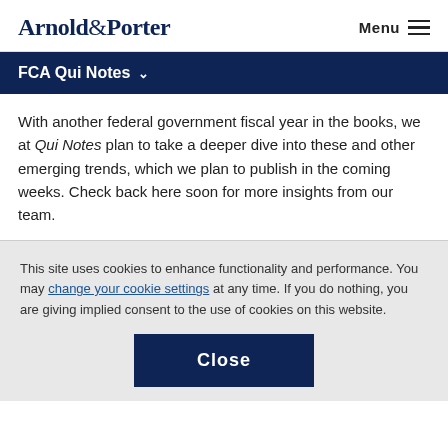Arnold & Porter   Menu
FCA Qui Notes
With another federal government fiscal year in the books, we at Qui Notes plan to take a deeper dive into these and other emerging trends, which we plan to publish in the coming weeks. Check back here soon for more insights from our team.
This site uses cookies to enhance functionality and performance. You may change your cookie settings at any time. If you do nothing, you are giving implied consent to the use of cookies on this website.
Close